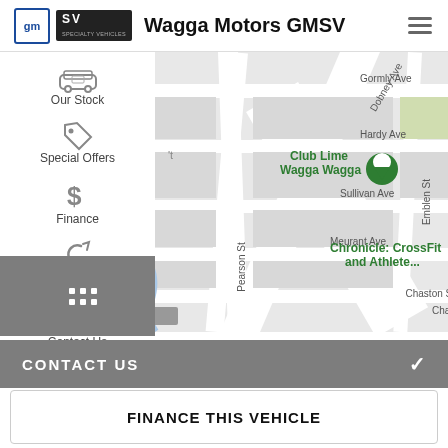Wagga Motors GMSV
[Figure (map): Street map showing area around Wagga Wagga with markers for Club Lime Wagga Wagga and Chronicle: CrossFit and Athlete... Streets visible include Dobney Ave, Pearson St, Cullen Rd, Emblen St, Gormly Ave, Hardy Ave, Sullivan Ave, Meurant Ave, Chaston St. Also shows Calvary River label in red.]
Our Stock
Special Offers
Finance
Book A Service
Contact Us
CONTACT US
FINANCE THIS VEHICLE